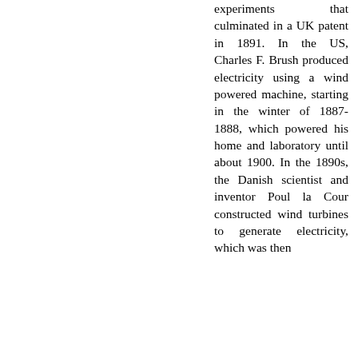experiments that culminated in a UK patent in 1891. In the US, Charles F. Brush produced electricity using a wind powered machine, starting in the winter of 1887-1888, which powered his home and laboratory until about 1900. In the 1890s, the Danish scientist and inventor Poul la Cour constructed wind turbines to generate electricity, which was then